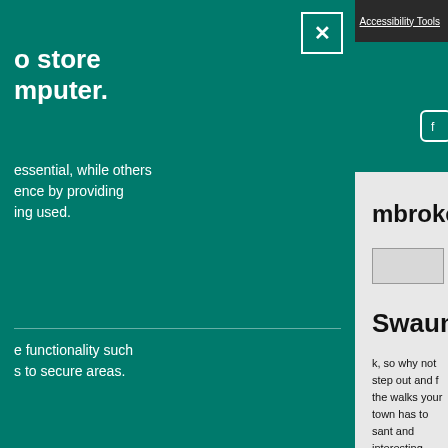Search | Login | Accessibility Tools
mbrokeshire
Swaun
k, so why not step out and f the walks your town has to sant and interesting walk d finishes at the Harbour Car nguard is one of a number of ny walks which have been
o store mputer. essential, while others ence by providing ing used.
e functionality such s to secure areas.